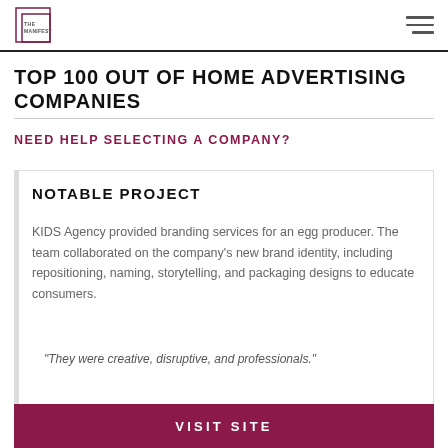THE MANIFEST
TOP 100 OUT OF HOME ADVERTISING COMPANIES
NEED HELP SELECTING A COMPANY?
NOTABLE PROJECT
KIDS Agency provided branding services for an egg producer. The team collaborated on the company's new brand identity, including repositioning, naming, storytelling, and packaging designs to educate consumers.
"They were creative, disruptive, and professionals."
VISIT SITE